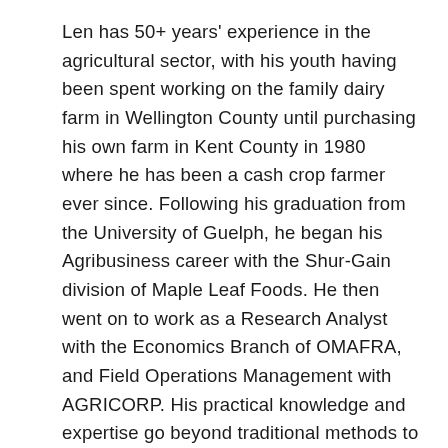Len has 50+ years' experience in the agricultural sector, with his youth having been spent working on the family dairy farm in Wellington County until purchasing his own farm in Kent County in 1980 where he has been a cash crop farmer ever since. Following his graduation from the University of Guelph, he began his Agribusiness career with the Shur-Gain division of Maple Leaf Foods. He then went on to work as a Research Analyst with the Economics Branch of OMAFRA, and Field Operations Management with AGRICORP. His practical knowledge and expertise go beyond traditional methods to include innovative and sustainable strategies for all types of farm operations. He fully understands the needs of farmers and is able to convey this to farm families throughout Ontario. Len is an advisor registered with the Farm Management Canada and an instructor for Farm Credit Canada's AgriSuccess workshops. Len us a graduate of